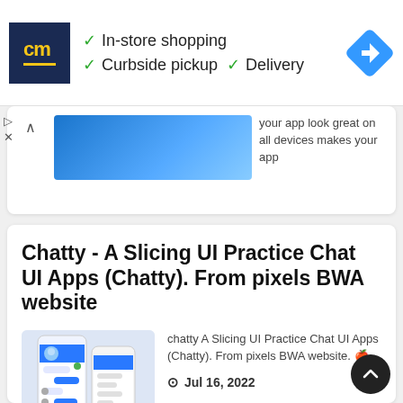[Figure (screenshot): Advertisement banner with CM logo, checkmarks for In-store shopping, Curbside pickup, Delivery, and a blue navigation arrow icon]
your app look great on all devices makes your app
more re
Mar 18, 2022
Chatty - A Slicing UI Practice Chat UI Apps (Chatty). From pixels BWA website
[Figure (screenshot): Screenshot of Chatty chat UI app showing a mobile phone with chat interface]
chatty A Slicing UI Practice Chat UI Apps (Chatty). From pixels BWA website. 🍎
Jul 16, 2022